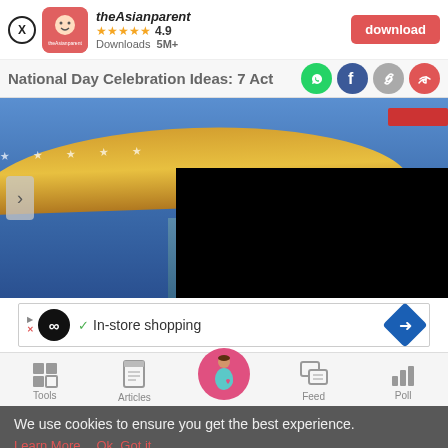[Figure (screenshot): App download banner showing theAsianparent app with rating 4.9 stars, 5M+ downloads, and a red download button]
National Day Celebration Ideas: 7 Act
[Figure (photo): Hero image showing a domed building with stars (Singapore-themed) and a glass building, partially covered by a black overlay, with a navigation arrow]
[Figure (screenshot): Advertisement banner with infinity logo, checkmark, In-store shopping text, and a blue diamond arrow]
[Figure (screenshot): Bottom navigation bar with Tools (grid icon), Articles (clipboard icon), center pregnant woman icon (pink circle), Feed (chat bubbles icon), Poll (bar chart icon)]
We use cookies to ensure you get the best experience.
Learn More   Ok, Got it